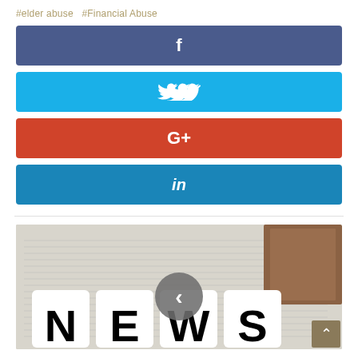#elder abuse  #Financial Abuse
[Figure (infographic): Social media share buttons: Facebook (blue-purple), Twitter (light blue), Google+ (red), LinkedIn (blue)]
[Figure (photo): News image showing letter dice spelling NEWS on a newspaper background, with a navigation arrow button overlaid in the center and a scroll-to-top button in the bottom right corner]